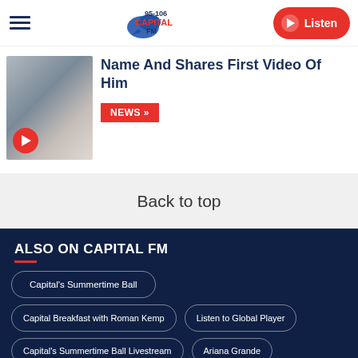95-106 Capital FM — Listen
[Figure (screenshot): Article thumbnail image with a play button overlay]
Name And Shares First Video Of Him
NEWS »
Back to top
ALSO ON CAPITAL FM
Capital's Summertime Ball
Capital Breakfast with Roman Kemp
Listen to Global Player
Capital's Summertime Ball Livestream
Ariana Grande